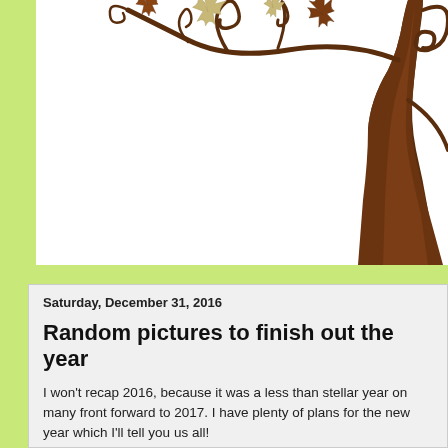[Figure (illustration): Decorative family tree illustration with brown trunk on the right, curling brown branches with autumn leaves (brown and tan/beige maple leaves) on white background with light green left border.]
Saturday, December 31, 2016
Random pictures to finish out the year
I won't recap 2016, because it was a less than stellar year on many front forward to 2017. I have plenty of plans for the new year which I'll tell you us all!